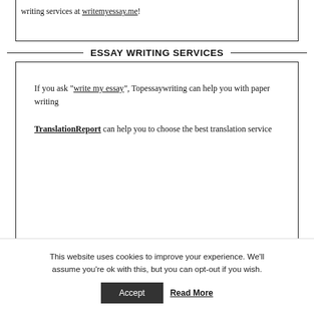writing services at writemyessay.me!
ESSAY WRITING SERVICES
If you ask "write my essay", Topessaywriting can help you with paper writing
TranslationReport can help you to choose the best translation service
YAHOO LIST OF TOP ESSAY WRITING
This website uses cookies to improve your experience. We'll assume you're ok with this, but you can opt-out if you wish.